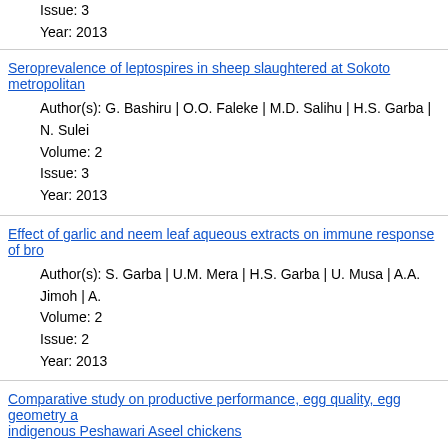Issue: 3
Year: 2013
Seroprevalence of leptospires in sheep slaughtered at Sokoto metropolitan...
Author(s): G. Bashiru | O.O. Faleke | M.D. Salihu | H.S. Garba | N. Sulei...
Volume: 2
Issue: 3
Year: 2013
Effect of garlic and neem leaf aqueous extracts on immune response of bro...
Author(s): S. Garba | U.M. Mera | H.S. Garba | U. Musa | A.A. Jimoh | A....
Volume: 2
Issue: 2
Year: 2013
Comparative study on productive performance, egg quality, egg geometry a... indigenous Peshawari Aseel chickens
Author(s): A. Sohail | A. Muhammad | J. Hussain | A. Iqbal | M. Usman | A...
Volume: 2
Issue: 2
Year: 2013
Dystocia due triplet fetal death in an UDA ewe
Author(s): Umaru Adamu | Aminu Mohammed Umaru | Abdul Adamu Abu... Aliyu Ebbo
Volume: 2
Issue: 1